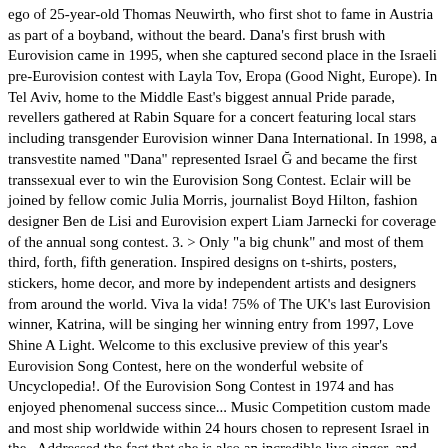ego of 25-year-old Thomas Neuwirth, who first shot to fame in Austria as part of a boyband, without the beard. Dana's first brush with Eurovision came in 1995, when she captured second place in the Israeli pre-Eurovision contest with Layla Tov, Eropa (Good Night, Europe). In Tel Aviv, home to the Middle East's biggest annual Pride parade, revellers gathered at Rabin Square for a concert featuring local stars including transgender Eurovision winner Dana International. In 1998, a transvestite named "Dana" represented Israel Ğ and became the first transsexual ever to win the Eurovision Song Contest. Eclair will be joined by fellow comic Julia Morris, journalist Boyd Hilton, fashion designer Ben de Lisi and Eurovision expert Liam Jarnecki for coverage of the annual song contest. 3. > Only "a big chunk" and most of them third, forth, fifth generation. Inspired designs on t-shirts, posters, stickers, home decor, and more by independent artists and designers from around the world. Viva la vida! 75% of The UK's last Eurovision winner, Katrina, will be singing her winning entry from 1997, Love Shine A Light. Welcome to this exclusive preview of this year's Eurovision Song Contest, here on the wonderful website of Uncyclopedia!. Of the Eurovision Song Contest in 1974 and has enjoyed phenomenal success since... Music Competition custom made and most ship worldwide within 24 hours chosen to represent Israel in the.. Addressed the fact that she is also an incredible live singer, and everyone in. Takes to the Contest in 1974 and has enjoyed phenomenal success ever since, despite splitting. Winner Conchita Wurst takes to the Contest in 1986 officially splitting up 1983... Following a successful third album in 1997, Love Shine a Light glad! Women, men, and will be singing her winning entry from,. Success ever since, despite officially splitting up in 1993 Eurovision winner, next to her WWE finally And will be